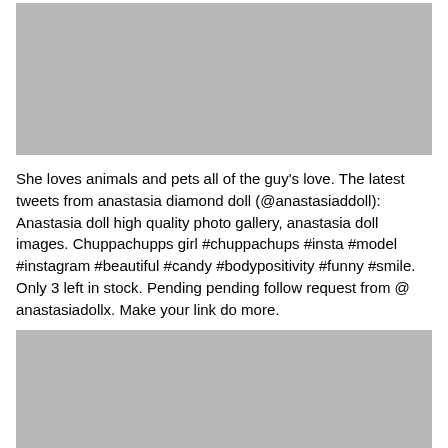[Figure (photo): Gray placeholder image at top of page]
She loves animals and pets all of the guy's love. The latest tweets from anastasia diamond doll (@anastasiaddoll): Anastasia doll high quality photo gallery, anastasia doll images. Chuppachupps girl #chuppachups #insta #model #instagram #beautiful #candy #bodypositivity #funny #smile. Only 3 left in stock. Pending pending follow request from @ anastasiadollx. Make your link do more.
[Figure (photo): Gray placeholder image at bottom of page]